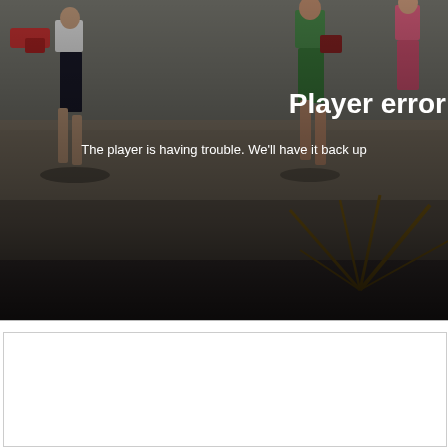[Figure (screenshot): A video player showing an error state. The background image shows people on a beach. The image is darkened with a dark overlay gradient. Bold white text reads 'Player error' on the right side. Below it, lighter white text reads 'The player is having trouble. We'll have it back up'. Below the video player is a white content area with a light grey border.]
Player error
The player is having trouble. We'll have it back up